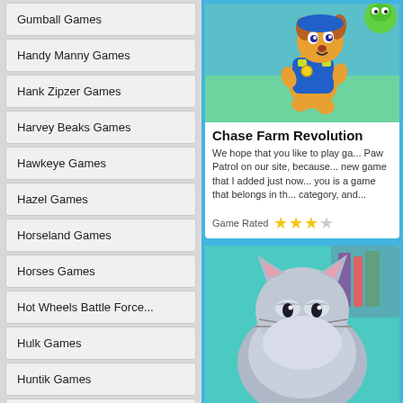Gumball Games
Handy Manny Games
Hank Zipzer Games
Harvey Beaks Games
Hawkeye Games
Hazel Games
Horseland Games
Horses Games
Hot Wheels Battle Force...
Hulk Games
Huntik Games
I Didn't Do It Games
iCarly Games
[Figure (screenshot): Paw Patrol Chase character in blue uniform running]
Chase Farm Revolution
We hope that you like to play ga... Paw Patrol on our site, because... new game that I added just now... you is a game that belongs in th... category, and...
Game Rated
[Figure (screenshot): Grey fluffy cat from The Secret Life of Pets]
The Secret Life of Pets...
We continue to grow the cate...